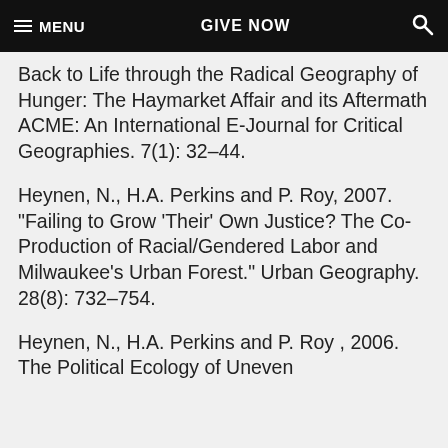MENU   GIVE NOW   [search]
Back to Life through the Radical Geography of Hunger: The Haymarket Affair and its Aftermath ACME: An International E-Journal for Critical Geographies. 7(1): 32–44.
Heynen, N., H.A. Perkins and P. Roy, 2007. "Failing to Grow 'Their' Own Justice? The Co- Production of Racial/Gendered Labor and Milwaukee's Urban Forest." Urban Geography. 28(8): 732–754.
Heynen, N., H.A. Perkins and P. Roy, 2006. The Political Ecology of Uneven…